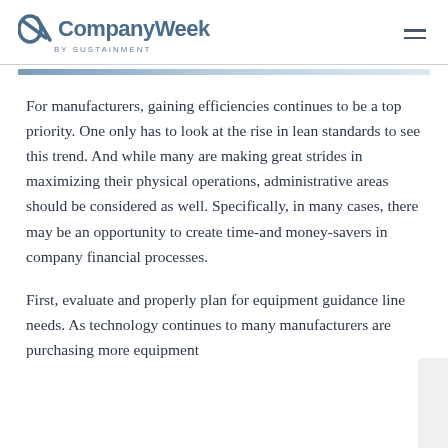CompanyWeek by SUSTAINMENT
For manufacturers, gaining efficiencies continues to be a top priority. One only has to look at the rise in lean standards to see this trend. And while many are making great strides in maximizing their physical operations, administrative areas should be considered as well. Specifically, in many cases, there may be an opportunity to create time-and money-savers in company financial processes.
First, evaluate and properly plan for equipment guidance line needs. As technology continues to many manufacturers are purchasing more equipment